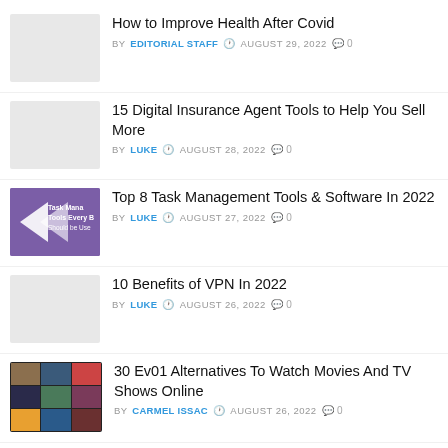How to Improve Health After Covid
BY EDITORIAL STAFF  AUGUST 29, 2022  0
15 Digital Insurance Agent Tools to Help You Sell More
BY LUKE  AUGUST 28, 2022  0
Top 8 Task Management Tools & Software In 2022
BY LUKE  AUGUST 27, 2022  0
10 Benefits of VPN In 2022
BY LUKE  AUGUST 26, 2022  0
30 Ev01 Alternatives To Watch Movies And TV Shows Online
BY CARMEL ISSAC  AUGUST 26, 2022  0
4 Arguments for Why Every Small...